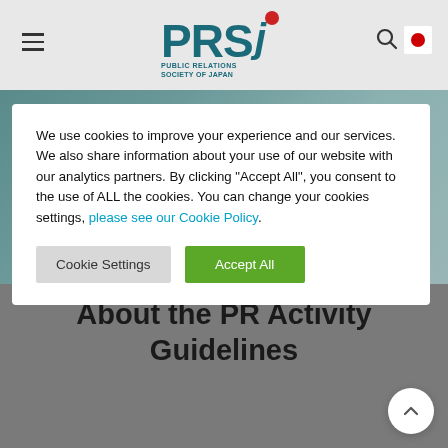[Figure (logo): PRSJ - Public Relations Society of Japan logo with teal letters and red dot]
We use cookies to improve your experience and our services. We also share information about your use of our website with our analytics partners. By clicking "Accept All", you consent to the use of ALL the cookies. You can change your cookies settings, please see our Cookie Policy.
About the PR Activity Guidelines